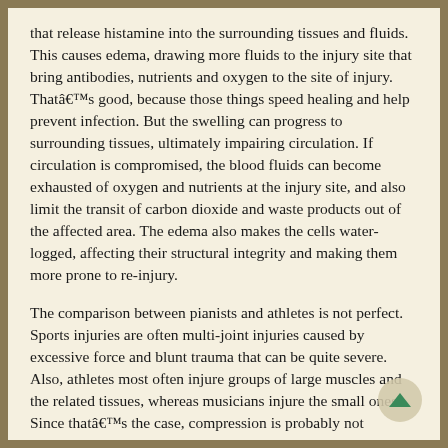that release histamine into the surrounding tissues and fluids. This causes edema, drawing more fluids to the injury site that bring antibodies, nutrients and oxygen to the site of injury. Thatâs good, because those things speed healing and help prevent infection. But the swelling can progress to surrounding tissues, ultimately impairing circulation. If circulation is compromised, the blood fluids can become exhausted of oxygen and nutrients at the injury site, and also limit the transit of carbon dioxide and waste products out of the affected area. The edema also makes the cells water-logged, affecting their structural integrity and making them more prone to re-injury.
The comparison between pianists and athletes is not perfect. Sports injuries are often multi-joint injuries caused by excessive force and blunt trauma that can be quite severe. Also, athletes most often injure groups of large muscles and the related tissues, whereas musicians injure the small ones. Since thatâs the case, compression is probably not necessary for most RSIs of the upper extremity. But the other three are very helpful and can significantly reduce the recovery period.
Additionally, pianists donât often experience sudden onset, blunt trauma while they play. Rather, they undergo microscopic trauma at a cellular level that their bodies cannot heal completely in a 24-hour period. Since they go back the next day